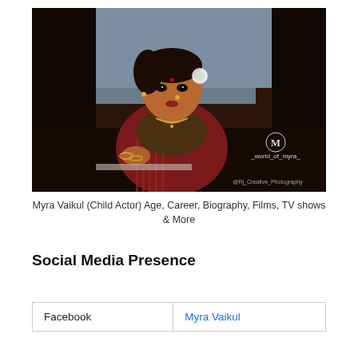[Figure (photo): A young girl dressed in traditional Indian attire including a red saree with necklaces and hair accessories, photographed in a dramatic dark setting. Watermark text reads '_world_of_myra_' and '@Rj_Creative_Photography'.]
Myra Vaikul (Child Actor) Age, Career, Biography, Films, TV shows & More
Social Media Presence
|  |  |
| --- | --- |
| Facebook | Myra Vaikul |